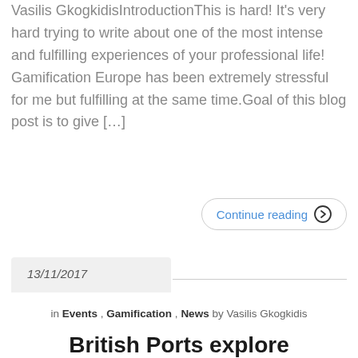Vasilis GkogkidisIntroductionThis is hard! It's very hard trying to write about one of the most intense and fulfilling experiences of your professional life! Gamification Europe has been extremely stressful for me but fulfilling at the same time.Goal of this blog post is to give […]
Continue reading →
13/11/2017
in Events , Gamification , News by Vasilis Gkogkidis
British Ports explore